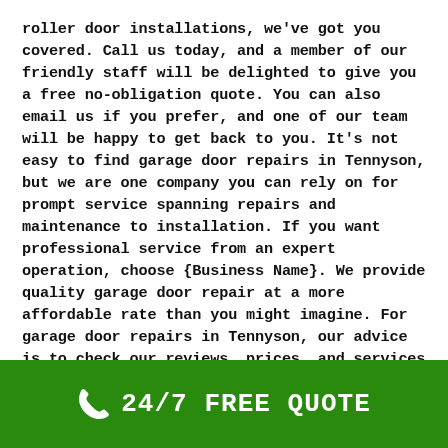roller door installations, we've got you covered. Call us today, and a member of our friendly staff will be delighted to give you a free no-obligation quote. You can also email us if you prefer, and one of our team will be happy to get back to you. It's not easy to find garage door repairs in Tennyson, but we are one company you can rely on for prompt service spanning repairs and maintenance to installation. If you want professional service from an expert operation, choose {Business Name}. We provide quality garage door repair at a more affordable rate than you might imagine. For garage door repairs in Tennyson, our advice is to check our reviews, prices, and services—because we know all the above will lead you back to us. We have the experience and expertise to carry out repairs and maintenance
[Figure (infographic): Green banner with phone icon and text '24/7 FREE QUOTE' in white bold monospace font]